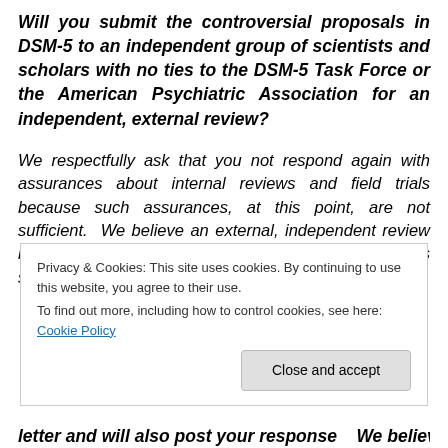Will you submit the controversial proposals in DSM-5 to an independent group of scientists and scholars with no ties to the DSM-5 Task Force or the American Psychiatric Association for an independent, external review?
We respectfully ask that you not respond again with assurances about internal reviews and field trials because such assurances, at this point, are not sufficient.  We believe an external, independent review is critical in terms of ensuring the proposed DSM-5 is safe and credible.  If
Privacy & Cookies: This site uses cookies. By continuing to use this website, you agree to their use.
To find out more, including how to control cookies, see here: Cookie Policy
[Close and accept]
letter and will also post your response    We believe